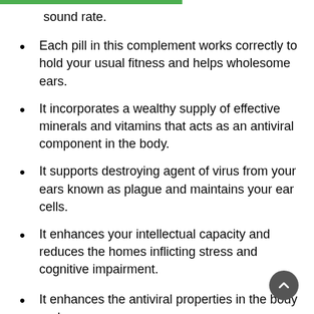sound rate.
Each pill in this complement works correctly to hold your usual fitness and helps wholesome ears.
It incorporates a wealthy supply of effective minerals and vitamins that acts as an antiviral component in the body.
It supports destroying agent of virus from your ears known as plague and maintains your ear cells.
It enhances your intellectual capacity and reduces the homes inflicting stress and cognitive impairment.
It enhances the antiviral properties in the body and